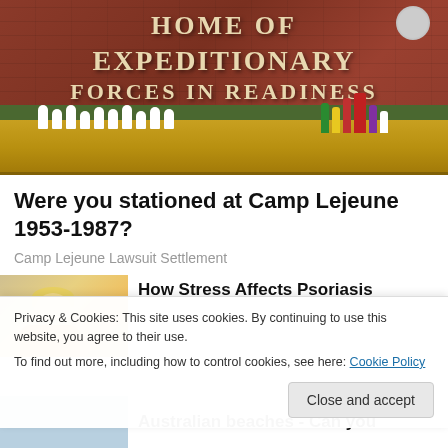[Figure (photo): Photo of a brick wall with white letters reading 'HOME OF EXPEDITIONARY FORCES IN READINESS', with white flower arrangements and colorful decorations at the base, on a bed of fallen autumn leaves.]
Were you stationed at Camp Lejeune 1953-1987?
Camp Lejeune Lawsuit Settlement
[Figure (photo): Thumbnail photo of a blonde woman looking down, appearing stressed]
How Stress Affects Psoriasis
Privacy & Cookies: This site uses cookies. By continuing to use this website, you agree to their use.
To find out more, including how to control cookies, see here: Cookie Policy
Close and accept
[Figure (photo): Thumbnail photo with blue/water tones]
Australian beaches - Can you